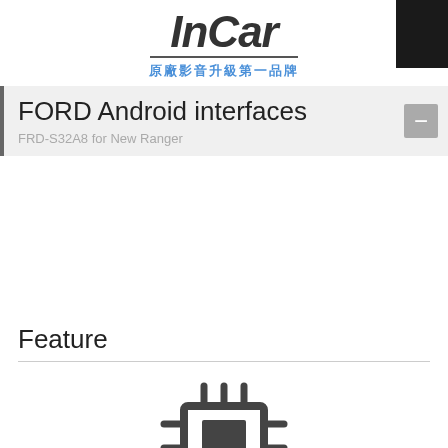[Figure (logo): InCar brand logo with italic bold text, underline, and Chinese tagline 原廠影音升級第一品牌]
FORD Android interfaces
FRD-S32A8 for New Ranger
Feature
[Figure (illustration): CPU/chip connector icon in dark gray]